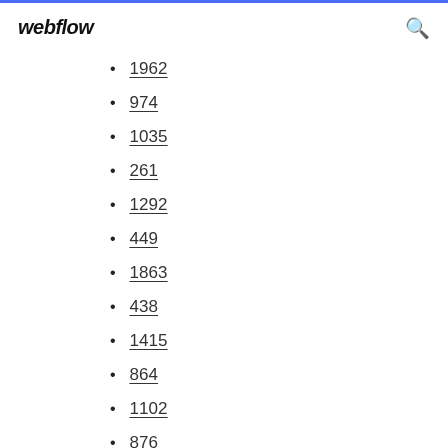webflow
1962
974
1035
261
1292
449
1863
438
1415
864
1102
876